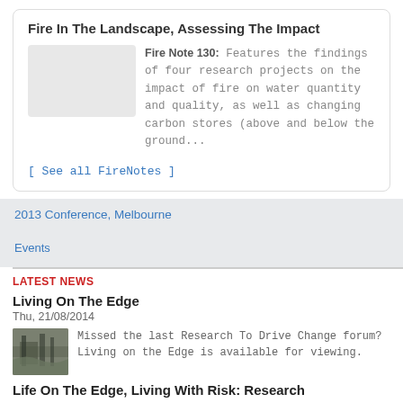Fire In The Landscape, Assessing The Impact
Fire Note 130: Features the findings of four research projects on the impact of fire on water quantity and quality, as well as changing carbon stores (above and below the ground...
[ See all FireNotes ]
2013 Conference, Melbourne
Events
LATEST NEWS
Living On The Edge
Thu, 21/08/2014
Missed the last Research To Drive Change forum? Living on the Edge is available for viewing.
Life On The Edge, Living With Risk: Research